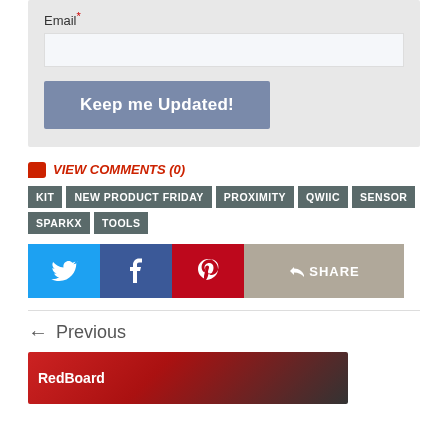Email*
[Figure (screenshot): Email input field (empty text box)]
[Figure (screenshot): Button labeled 'Keep me Updated!']
VIEW COMMENTS (0)
KIT
NEW PRODUCT FRIDAY
PROXIMITY
QWIIC
SENSOR
SPARKX
TOOLS
[Figure (screenshot): Social share buttons: Twitter (blue), Facebook (dark blue), Pinterest (red), Share (beige/tan)]
Previous
[Figure (photo): Partial image of a red circuit board labeled 'RedBoard']